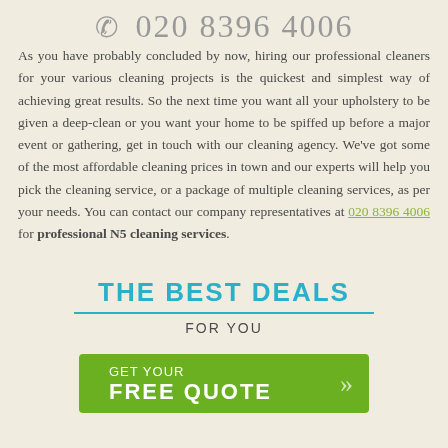☎ 020 8396 4006
As you have probably concluded by now, hiring our professional cleaners for your various cleaning projects is the quickest and simplest way of achieving great results. So the next time you want all your upholstery to be given a deep-clean or you want your home to be spiffed up before a major event or gathering, get in touch with our cleaning agency. We've got some of the most affordable cleaning prices in town and our experts will help you pick the cleaning service, or a package of multiple cleaning services, as per your needs. You can contact our company representatives at 020 8396 4006 for professional N5 cleaning services.
THE BEST DEALS FOR YOU
[Figure (other): Green button with text 'GET YOUR FREE QUOTE' and arrow icons]